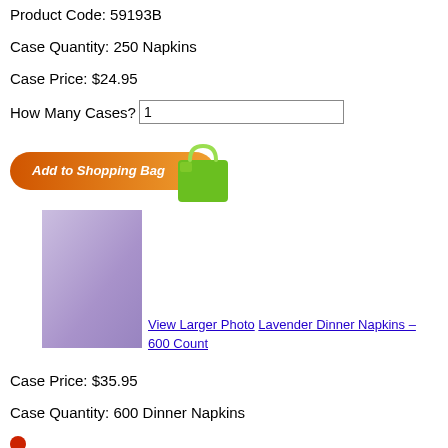Product Code: 59193B
Case Quantity: 250 Napkins
Case Price: $24.95
How Many Cases? 1
[Figure (illustration): Orange 'Add to Shopping Bag' button with green shopping bag icon]
[Figure (photo): Lavender/purple dinner napkin product photo]
View Larger Photo Lavender Dinner Napkins – 600 Count
Case Price: $35.95
Case Quantity: 600 Dinner Napkins